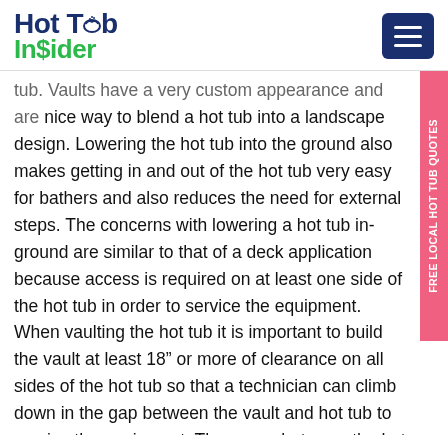Hot Tub Insider
tub. Vaults have a very custom appearance and are nice way to blend a hot tub into a landscape design. Lowering the hot tub into the ground also makes getting in and out of the hot tub very easy for bathers and also reduces the need for external steps. The concerns with lowering a hot tub in-ground are similar to that of a deck application because access is required on at least one side of the hot tub in order to service the equipment. When vaulting the hot tub it is important to build the vault at least 18" or more of clearance on all sides of the hot tub so that a technician can climb down in the gap between the vault and hot tub to service the equipment. The space between the hot